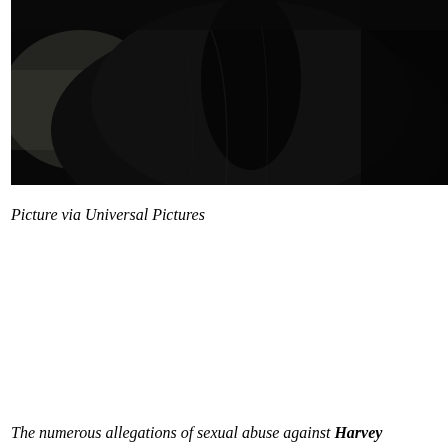[Figure (photo): A dark, low-key photograph showing a person's torso in dark clothing, with a blurred background suggesting an indoor setting.]
Picture via Universal Pictures
The numerous allegations of sexual abuse against Harvey